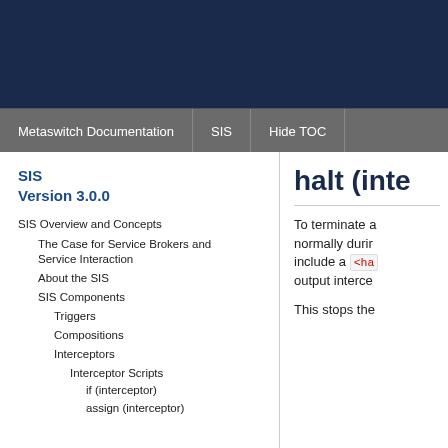Metaswitch Documentation | SIS | Hide TOC
SIS
Version 3.0.0
SIS Overview and Concepts
The Case for Service Brokers and Service Interaction
About the SIS
SIS Components
Triggers
Compositions
Interceptors
Interceptor Scripts
if (interceptor)
assign (interceptor)
halt (inte
To terminate a normally duri include a <ha output inter
This stops the